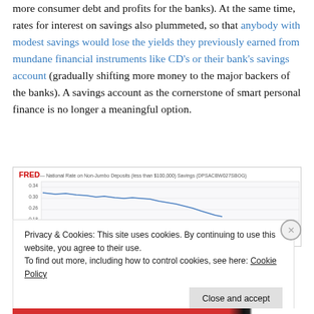more consumer debt and profits for the banks). At the same time, rates for interest on savings also plummeted, so that anybody with modest savings would lose the yields they previously earned from mundane financial instruments like CD's or their bank's savings account (gradually shifting more money to the major backers of the banks). A savings account as the cornerstone of smart personal finance is no longer a meaningful option.
[Figure (screenshot): FRED chart screenshot showing National Rate on Non-Jumbo Deposits (less than $100,000) Savings (DPSACBW027SBOG) with a declining line chart, partially obscured by a cookie consent overlay.]
Privacy & Cookies: This site uses cookies. By continuing to use this website, you agree to their use. To find out more, including how to control cookies, see here: Cookie Policy